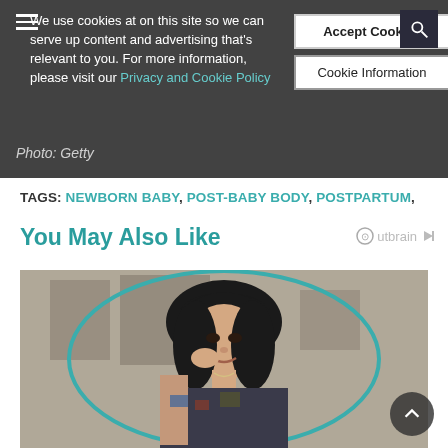We use cookies at on this site so we can serve up content and advertising that's relevant to you. For more information, please visit our Privacy and Cookie Policy
physical therapist and postnatal specialist. We say that me... everyone + shopping for new clothes
Photo: Getty
TAGS: NEWBORN BABY , POST-BABY BODY , POSTPARTUM ,
You May Also Like
[Figure (photo): Young woman with dark hair and tattoos posing in patterned top, shown inside a teal circular frame with building background. Outbrain recommended content thumbnail.]